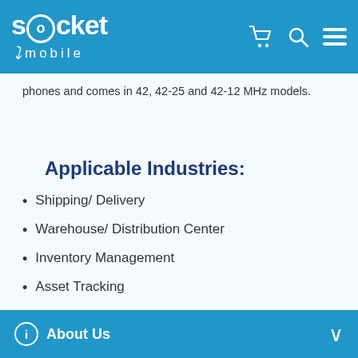socket mobile
phones and comes in 42, 42-25 and 42-12 MHz models.
Applicable Industries:
Shipping/ Delivery
Warehouse/ Distribution Center
Inventory Management
Asset Tracking
Pharmacies
Healthcare
About Us